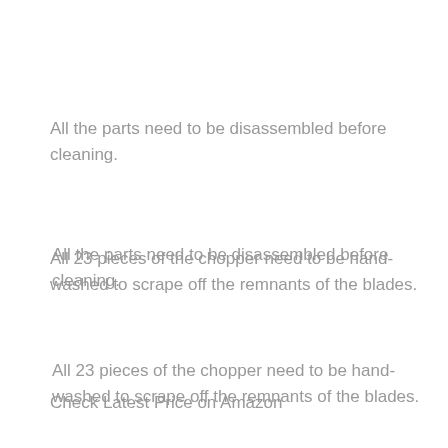All the parts need to be disassembled before cleaning.
All 23 pieces of the chopper need to be hand-washed to scrape off the remnants of the blades.
Check Latest Price on Amazon